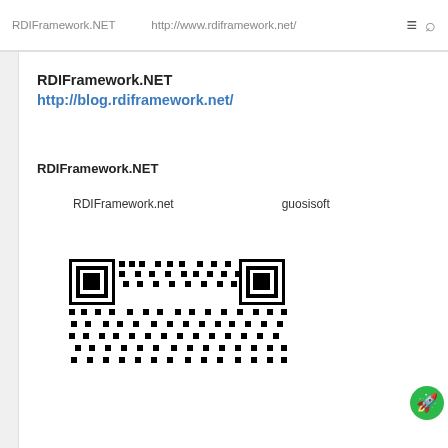RDIFramework.NET　　　http://www.rdiframework.net/
RDIFramework.NET　　　http://blog.rdiframework.net/
RDIFramework.NET
RDIFramework.net　　　　　　　　　guosisoft
[Figure (other): QR code image at bottom of page]